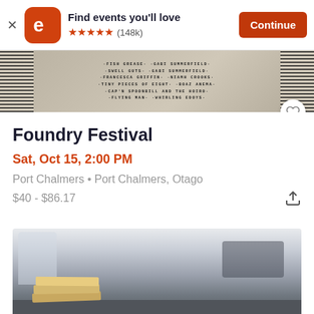[Figure (screenshot): Eventbrite app banner with logo, 'Find events you'll love' text, 5 orange stars, (148k) reviews, and orange Continue button]
[Figure (photo): Event poster image strip with monospace text listing artist names for Foundry Festival, with QR-code-like borders on left and right, and a heart favorite button]
Foundry Festival
Sat, Oct 15, 2:00 PM
Port Chalmers • Port Chalmers, Otago
$40 - $86.17
[Figure (photo): Blurred photo of an office/classroom setting with books stacked on a desk in foreground, chairs and laptop blurred in background]